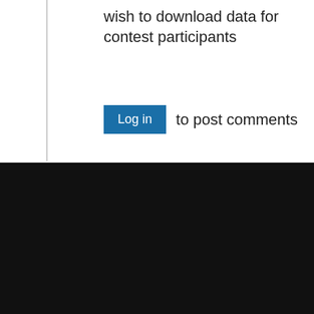wish to download data for contest participants
Log in  to post comments
IEEE websites place cookies on your device to give you the best user experience. By using our websites, you agree to the placement of these cookies. To learn more, read our Privacy Policy.
Accept & Close